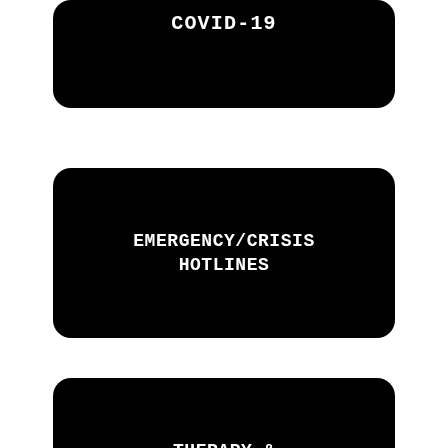COVID-19
EMERGENCY/CRISIS HOTLINES
THERAPY & EMOTIONAL SUPPORT